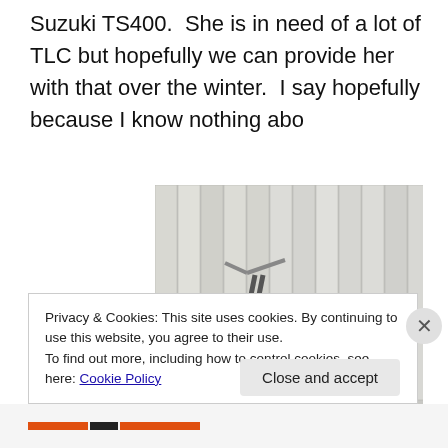Suzuki TS400.  She is in need of a lot of TLC but hopefully we can provide her with that over the winter.  I say hopefully because I know nothing abo
[Figure (photo): A Suzuki TS400 motorcycle leaning against a white wooden fence, photographed from the side. The motorcycle has an orange rear section and fender, black frame, and visible engine. The setting appears to be a paved area outdoors.]
Privacy & Cookies: This site uses cookies. By continuing to use this website, you agree to their use.
To find out more, including how to control cookies, see here: Cookie Policy
Close and accept